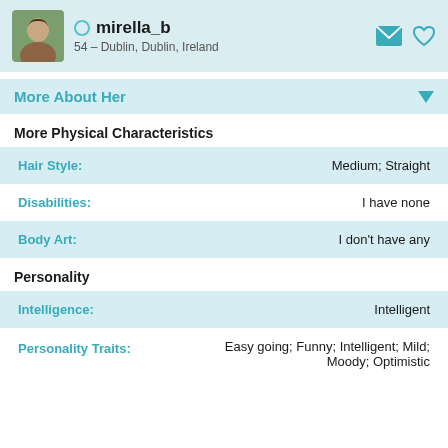mirella_b
54 – Dublin, Dublin, Ireland
More About Her
More Physical Characteristics
| Attribute | Value |
| --- | --- |
| Hair Style: | Medium; Straight |
| Disabilities: | I have none |
| Body Art: | I don't have any |
Personality
| Attribute | Value |
| --- | --- |
| Intelligence: | Intelligent |
| Personality Traits: | Easy going; Funny; Intelligent; Mild; Moody; Optimistic |